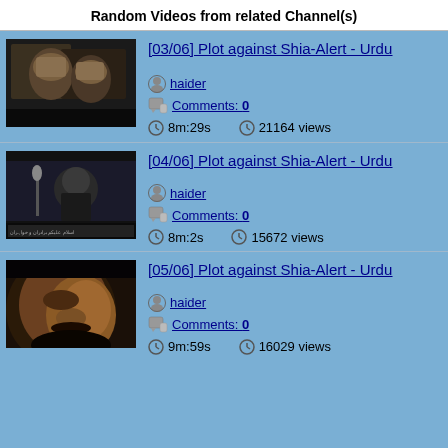Random Videos from related Channel(s)
[Figure (screenshot): Video thumbnail showing people in dark setting]
[03/06] Plot against Shia-Alert - Urdu
haider
Comments: 0
8m:29s   21164 views
[Figure (screenshot): Video thumbnail showing a man speaking at a microphone]
[04/06] Plot against Shia-Alert - Urdu
haider
Comments: 0
8m:2s   15672 views
[Figure (screenshot): Video thumbnail showing a man's face in dark lighting]
[05/06] Plot against Shia-Alert - Urdu
haider
Comments: 0
9m:59s   16029 views